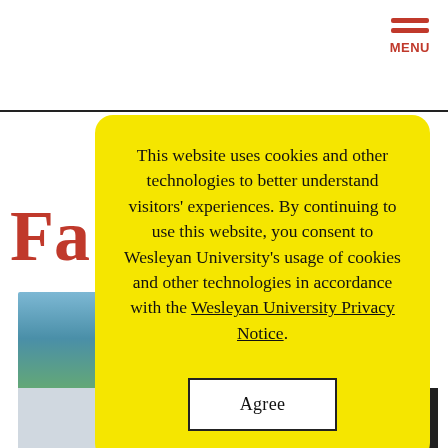[Figure (screenshot): Wesleyan University website background showing partial red 'Fa' heading text, campus photo strips, and menu button with red hamburger icon and MENU label in top right corner]
This website uses cookies and other technologies to better understand visitors' experiences. By continuing to use this website, you consent to Wesleyan University's usage of cookies and other technologies in accordance with the Wesleyan University Privacy Notice.
Agree